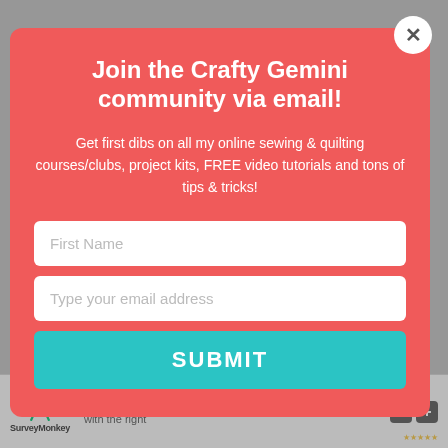Join the Crafty Gemini community via email!
Get first dibs on all my online sewing & quilting courses/clubs, project kits, FREE video tutorials and tons of tips & tricks!
First Name
Type your email address
SUBMIT
MedStar Washington Hospital Center
[Figure (screenshot): SurveyMonkey advertisement banner at bottom of page with logo and text 'Learn what m... with the ri...']